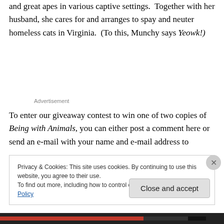and great apes in various captive settings. Together with her husband, she cares for and arranges to spay and neuter homeless cats in Virginia. (To this, Munchy says Yeowk!)
Advertisement
To enter our giveaway contest to win one of two copies of Being with Animals, you can either post a comment here or send an e-mail with your name and e-mail address to
Privacy & Cookies: This site uses cookies. By continuing to use this website, you agree to their use.
To find out more, including how to control cookies, see here: Cookie Policy